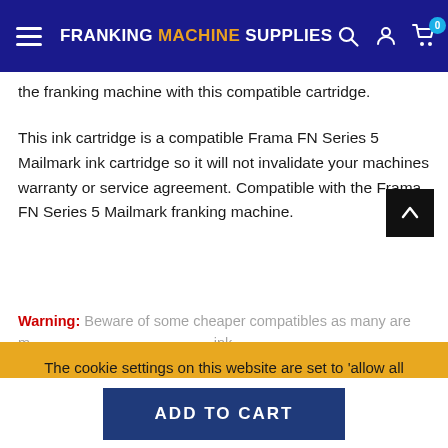FRANKING MACHINE SUPPLIES
the franking machine with this compatible cartridge.
This ink cartridge is a compatible Frama FN Series 5 Mailmark ink cartridge so it will not invalidate your machines warranty or service agreement. Compatible with the Frama FN Series 5 Mailmark franking machine.
Warning: Beware of some cheaper compatibles as many are m... ink... mail being ret... Also some cause problems with your franking machine and can result a very expensive repair bill!
The cookie settings on this website are set to 'allow all cookies' to give you the very best experience. Please click Accept Cookies to continue to use the site. PRIVACY POLICY  ACCEPT ✔
ADD TO CART